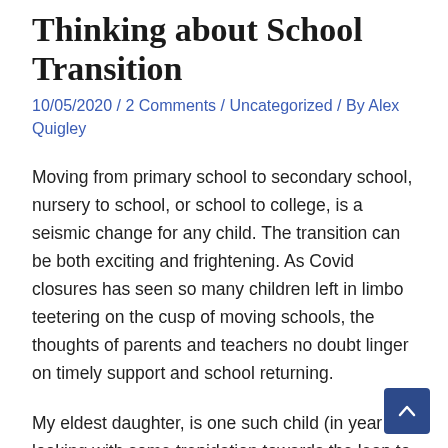Thinking about School Transition
10/05/2020 / 2 Comments / Uncategorized / By Alex Quigley
Moving from primary school to secondary school, nursery to school, or school to college, is a seismic change for any child. The transition can be both exciting and frightening. As Covid closures has seen so many children left in limbo teetering on the cusp of moving schools, the thoughts of parents and teachers no doubt linger on timely support and school returning.
My eldest daughter, is one such child (in year 6) looking with some trepidation towards the leap to secondary school. Despite some continued online